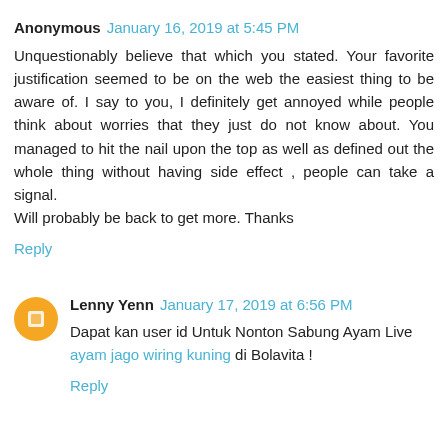Anonymous  January 16, 2019 at 5:45 PM
Unquestionably believe that which you stated. Your favorite justification seemed to be on the web the easiest thing to be aware of. I say to you, I definitely get annoyed while people think about worries that they just do not know about. You managed to hit the nail upon the top as well as defined out the whole thing without having side effect , people can take a signal. Will probably be back to get more. Thanks
Reply
Lenny Yenn  January 17, 2019 at 6:56 PM
Dapat kan user id Untuk Nonton Sabung Ayam Live ayam jago wiring kuning di Bolavita !
Reply